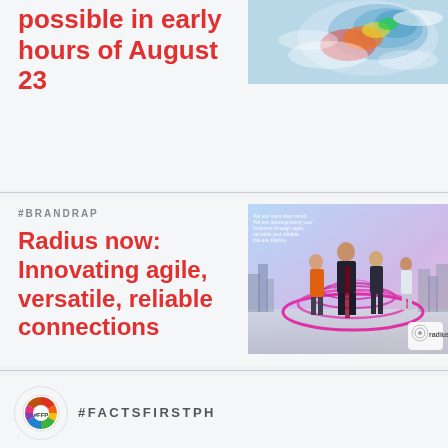possible in early hours of August 23
[Figure (photo): Satellite or radar image of a tropical storm/typhoon showing swirling cloud patterns]
#BRANDRAP
Radius now: Innovating agile, versatile, reliable connections
[Figure (photo): Radius brand advertisement showing business people standing in front of a city skyline with colorful circular light effects and Radius logo]
[Figure (logo): #FactsFirstPH logo - a circular emblem with colored segments]
#FACTSFIRSTPH